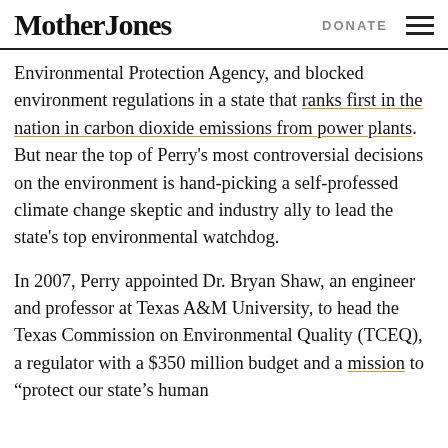Mother Jones | DONATE
Environmental Protection Agency, and blocked environment regulations in a state that ranks first in the nation in carbon dioxide emissions from power plants. But near the top of Perry's most controversial decisions on the environment is hand-picking a self-professed climate change skeptic and industry ally to lead the state's top environmental watchdog.
In 2007, Perry appointed Dr. Bryan Shaw, an engineer and professor at Texas A&M University, to head the Texas Commission on Environmental Quality (TCEQ), a regulator with a $350 million budget and a mission to “protect our state’s human